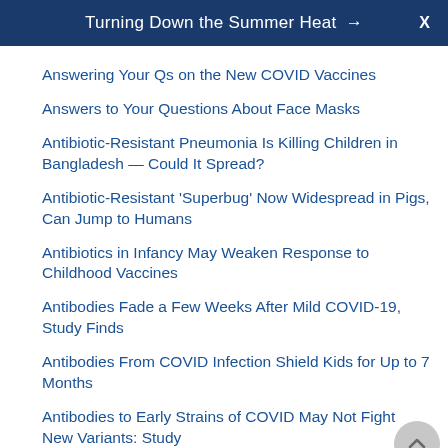Turning Down the Summer Heat → X
Answering Your Qs on the New COVID Vaccines
Answers to Your Questions About Face Masks
Antibiotic-Resistant Pneumonia Is Killing Children in Bangladesh — Could It Spread?
Antibiotic-Resistant 'Superbug' Now Widespread in Pigs, Can Jump to Humans
Antibiotics in Infancy May Weaken Response to Childhood Vaccines
Antibodies Fade a Few Weeks After Mild COVID-19, Study Finds
Antibodies From COVID Infection Shield Kids for Up to 7 Months
Antibodies to Early Strains of COVID May Not Fight New Variants: Study